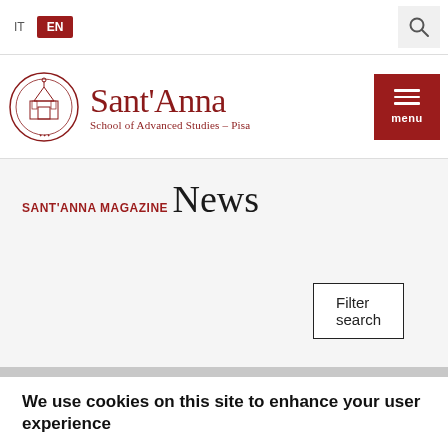IT  EN
[Figure (logo): Sant'Anna School of Advanced Studies – Pisa logo with circular emblem and red text]
SANT'ANNA MAGAZINE
News
Filter search
We use cookies on this site to enhance your user experience